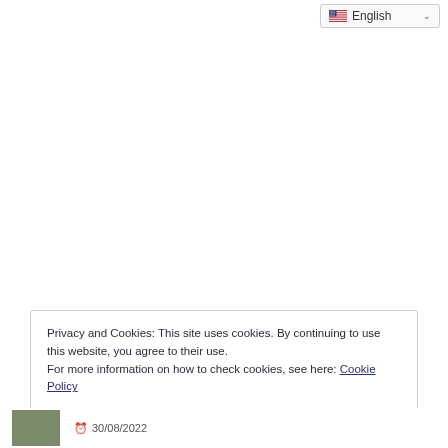[Figure (screenshot): Language selector dropdown showing English with US flag and chevron arrow]
Privacy and Cookies: This site uses cookies. By continuing to use this website, you agree to their use.
For more information on how to check cookies, see here: Cookie Policy
OK
30/08/2022